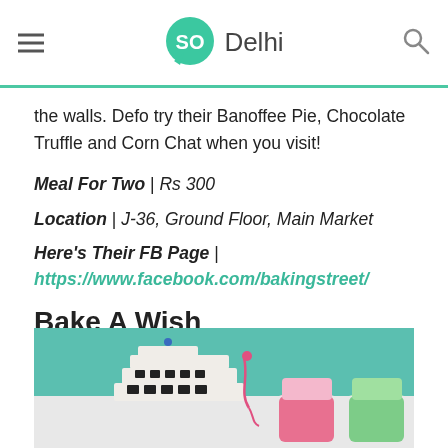SO Delhi
the walls. Defo try their Banoffee Pie, Chocolate Truffle and Corn Chat when you visit!
Meal For Two | Rs 300
Location | J-36, Ground Floor, Main Market
Here's Their FB Page | https://www.facebook.com/bakingstreet/
Bake A Wish
[Figure (photo): Photo of a cake shaped like a ship/cruise liner decorated with dark chocolate cookies, alongside pink and green cupcake wrappers on a white surface with a teal/green backdrop.]